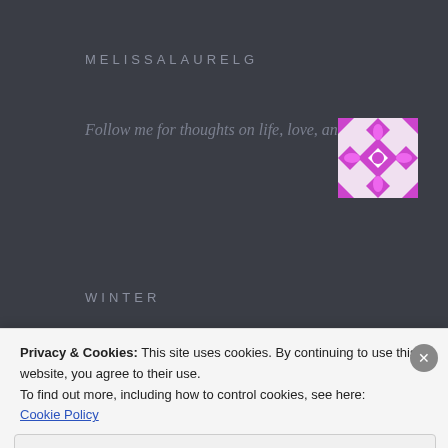MELISSALAURELG
Follow me for thoughts on life, love, and travel.
[Figure (illustration): Purple and white geometric quilt-pattern avatar image]
WINTER
Privacy & Cookies: This site uses cookies. By continuing to use this website, you agree to their use.
To find out more, including how to control cookies, see here: Cookie Policy
Close and accept